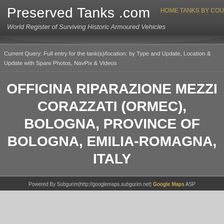Preserved Tanks .com
World Register of Surviving Historic Armoured Vehicles
HOME TANKS BY COU
Current Query: Full entry for the tank(s)/location: by Type and Update, Location & Update with Spare Photos, NavPix & Videos
OFFICINA RIPARAZIONE MEZZI CORAZZATI (ORMEC), BOLOGNA, PROVINCE OF BOLOGNA, EMILIA-ROMAGNA, ITALY
[Figure (map): Google Maps embedded map area, partially loaded, showing light gray placeholder. Header reads: Powered By Subgurim(http://googlemaps.subgurim.net) Google Maps ASP]